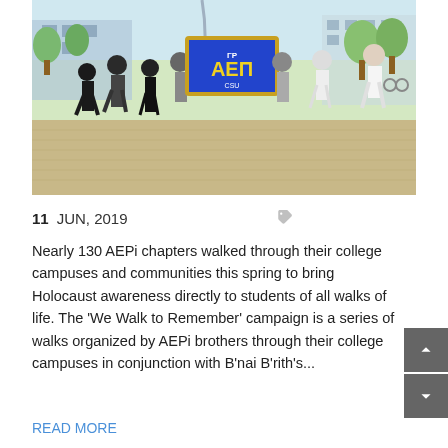[Figure (photo): Group of students walking on a college campus carrying a blue and gold AEPi (Alpha Epsilon Pi) fraternity banner, with trees and buildings in the background.]
11 JUN, 2019
Nearly 130 AEPi chapters walked through their college campuses and communities this spring to bring Holocaust awareness directly to students of all walks of life. The 'We Walk to Remember' campaign is a series of walks organized by AEPi brothers through their college campuses in conjunction with B'nai B'rith's...
READ MORE